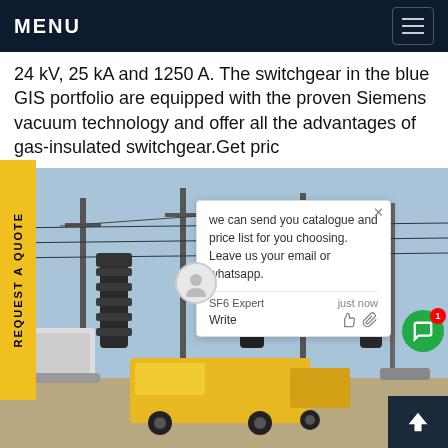MENU
24 kV, 25 kA and 1250 A. The switchgear in the blue GIS portfolio are equipped with the proven Siemens vacuum technology and offer all the advantages of gas-insulated switchgear.Get pric
[Figure (photo): Outdoor electrical substation with high-voltage equipment, insulators, transmission towers, and a yellow service truck in the foreground.]
we can send you catalogue and price list for you choosing.
Leave us your email or whatsapp.
SF6 Expert    just now
Write